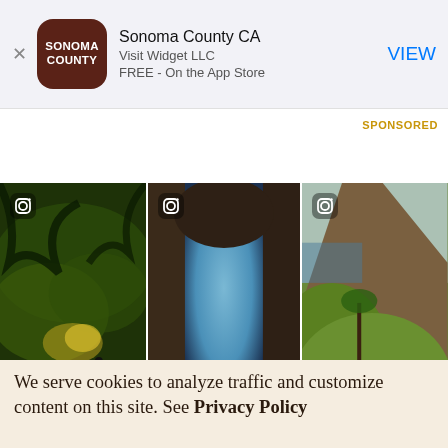[Figure (screenshot): App Store advertisement banner for Sonoma County CA app by Visit Widget LLC, free on the App Store, with a brown rounded icon showing SONOMA COUNTY text, and a blue VIEW button on the right.]
SPONSORED
[Figure (photo): Three Instagram photos in a grid: left shows a cyclist on a forested trail with green light filtering through twisted trees; center shows a rock arch/cave opening onto a beach at sunset with a figure silhouetted; right shows coastal cliffs with yellow wildflowers and palm trees.]
[Figure (photo): Three partially visible Instagram photos in the bottom row showing outdoor California scenery.]
We serve cookies to analyze traffic and customize content on this site. See Privacy Policy